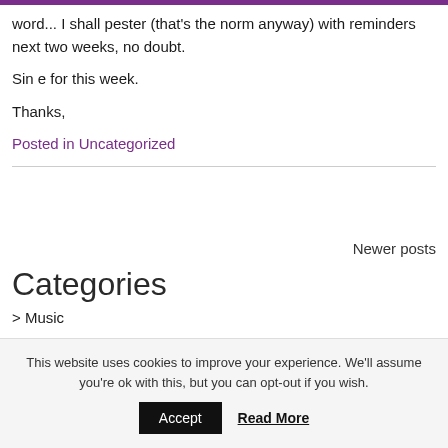word... I shall pester (that's the norm anyway) with reminders next two weeks, no doubt.
Sin e for this week.
Thanks,
Posted in Uncategorized
Newer posts
Categories
> Music
This website uses cookies to improve your experience. We'll assume you're ok with this, but you can opt-out if you wish.
Accept  Read More